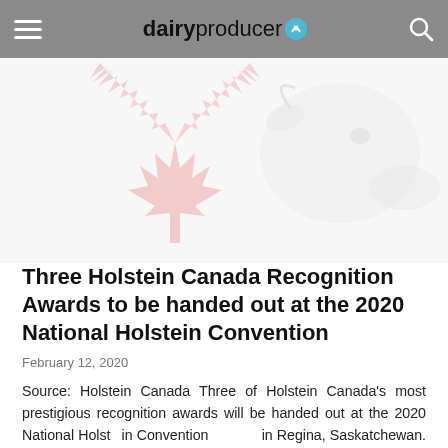dairyproducer
[Figure (illustration): Faded illustration of a Canadian maple leaf (light pink/red) with a Holstein cow head outline in light grey on the right side, on white background.]
Three Holstein Canada Recognition Awards to be handed out at the 2020 National Holstein Convention
February 12, 2020
Source: Holstein Canada Three of Holstein Canada's most prestigious recognition awards will be handed out at the 2020 National Holstein Convention in Regina, Saskatchewan. The Association will be awarding the